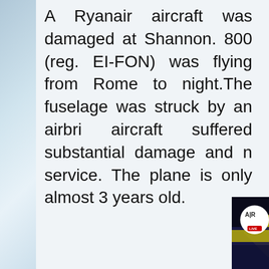A Ryanair aircraft was damaged at Shannon. 800 (reg. EI-FON) was flying from Rome to night. The fuselage was struck by an airbridge. The aircraft suffered substantial damage and not in service. The plane is only almost 3 years old.
[Figure (photo): A dark screenshot from an Air Live broadcast showing a Ryanair aircraft fuselage damage. The Air Live logo with 'LIVE' badge is visible in the upper left, and text reads 'Ryanair Be...' The image shows dark blue aircraft fuselage with yellow markings and a red element.]